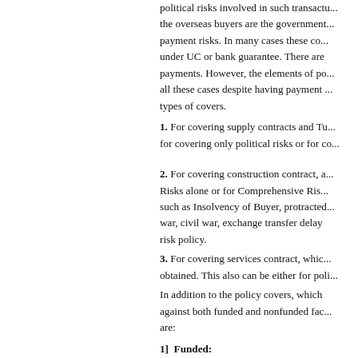political risks involved in such transac... the overseas buyers are the government... payment risks. In many cases these co... under UC or bank guarantee. There are payments. However, the elements of po... all these cases despite having payment types of covers.
1. For covering supply contracts and Tu... for covering only political risks or for co...
2. For covering construction contract, a... Risks alone or for Comprehensive Ris... such as Insolvency of Buyer, protracted... war, civil war, exchange transfer delay risk policy.
3. For covering services contract, whic... obtained. This also can be either for poli...
In addition to the policy covers, which against both funded and nonfunded fac... are:
1]  Funded:
[a]  Packing Credit
[b]  Post Shipment